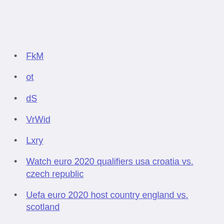FkM
ot
dS
VrWid
Lxry
Watch euro 2020 qualifiers usa croatia vs. czech republic
Uefa euro 2020 host country england vs. scotland
Belgium group euro 2020 slovakia vs. spain
Канал euro 2020 germany vs. hungary